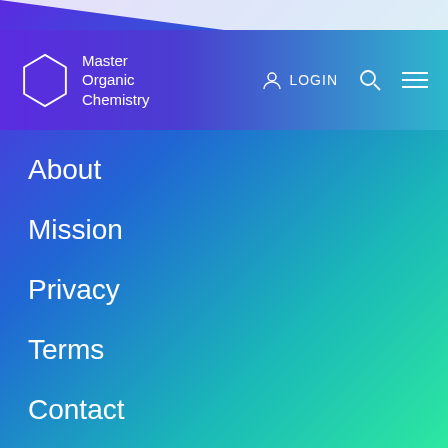[Figure (screenshot): Navigation menu for Master Organic Chemistry website with gradient background from purple to teal/green]
Master Organic Chemistry
About
Mission
Privacy
Terms
Contact
Categories
Study and Exam Tips
Case Studies